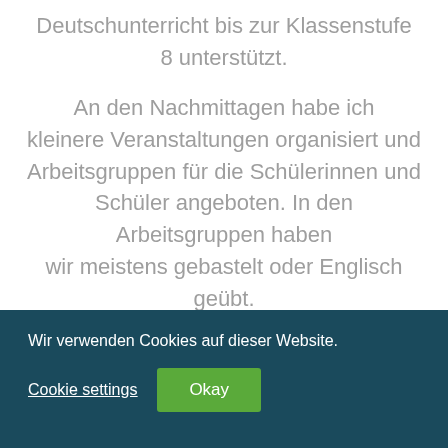Deutschunterricht bis zur Klassenstufe 8 unterstützt.
An den Nachmittagen habe ich kleinere Veranstaltungen organisiert und Arbeitsgruppen für die Schülerinnen und Schüler angeboten. In den Arbeitsgruppen haben wir meistens gebastelt oder Englisch geübt.
Wir verwenden Cookies auf dieser Website.
Cookie settings
Okay